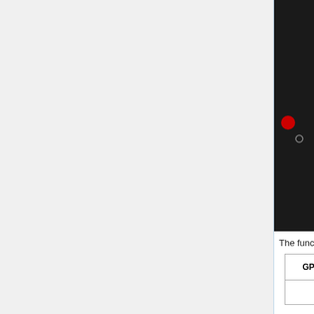[Figure (engineering-diagram): Partial view of a micro:bit microcontroller board (black PCB with yellow accents). Shows the back side with a grid of white pads/holes, yellow rounded connector, yellow triangular corners, a red LED, a gray square IC/button component, circular gold pads, and a gray square connector with black button labeled 'A'.]
The functions of pins:
| GPIO | P0, P1, P2, P3, P4, ... P11, P12, P13, P1... |
| --- | --- |
| GPIO | P0 , P1 , P2 , P3 , P4 ,
P11 , P12 , P13 , P1... |